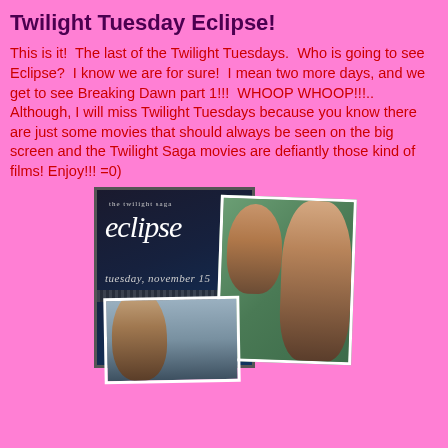Twilight Tuesday Eclipse!
This is it!  The last of the Twilight Tuesdays.  Who is going to see Eclipse?  I know we are for sure!  I mean two more days, and we get to see Breaking Dawn part 1!!!  WHOOP WHOOP!!!..
Although, I will miss Twilight Tuesdays because you know there are just some movies that should always be seen on the big screen and the Twilight Saga movies are defiantly those kind of films! Enjoy!!! =0)
[Figure (photo): Composite image: Eclipse movie poster (dark background, 'eclipse' text, 'tuesday, november 15', 'Our Twilight Corner' watermark) overlapping with two photos of Twilight characters in romantic poses.]